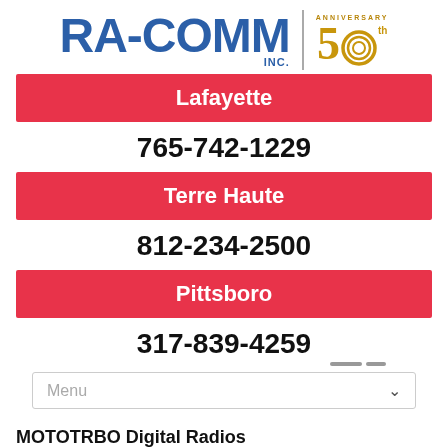[Figure (logo): RA-COMM INC. logo with blue block letters and a 50th anniversary badge with gold concentric circle design]
Lafayette
765-742-1229
Terre Haute
812-234-2500
Pittsboro
317-839-4259
Menu
MOTOTRBO Digital Radios
Your people are on the job, in the field, on the factory floor, or throughout the city. You need to keep them all connected, everywhere they go.